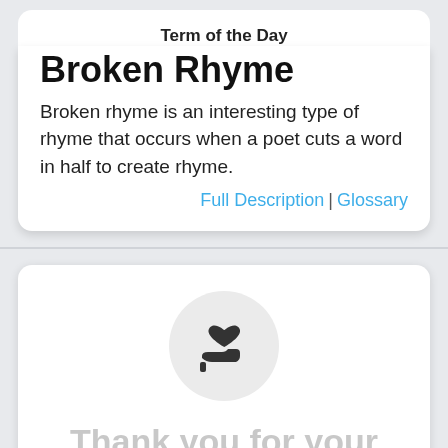Term of the Day
Broken Rhyme
Broken rhyme is an interesting type of rhyme that occurs when a poet cuts a word in half to create rhyme.
Full Description | Glossary
[Figure (illustration): Heart being held on a hand icon inside a light gray circle]
Thank you for your support